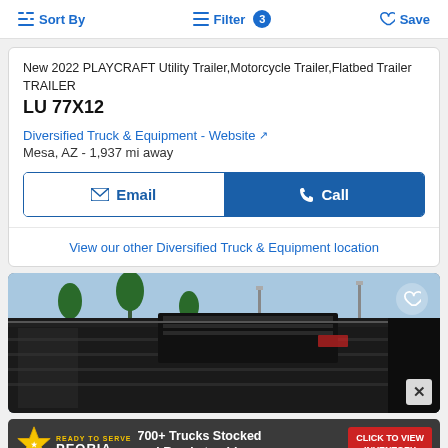Sort By   Filter 3   Save
New 2022 PLAYCRAFT Utility Trailer,Motorcycle Trailer,Flatbed Trailer TRAILER
LU 77X12
Diversified Truck & Equipment - Website
Mesa, AZ - 1,937 mi away
Email   Call
View our other Diversified Truck & Equipment location
[Figure (photo): Overhead photo of a black dump/flatbed trailer at a dealership lot with palm trees and light poles in the background]
[Figure (infographic): Peoria advertisement banner: 700+ Trucks Stocked and Ready to ship - Click to View Inventory]